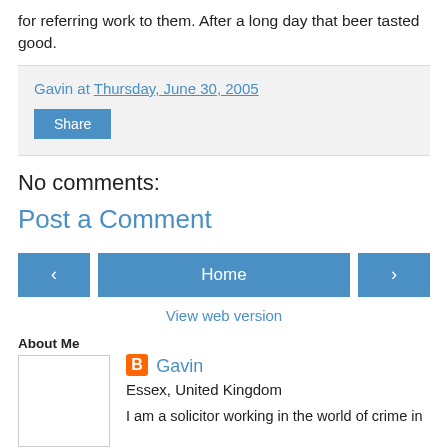for referring work to them. After a long day that beer tasted good.
Gavin at Thursday, June 30, 2005
Share
No comments:
Post a Comment
‹ Home ›
View web version
About Me
Gavin
Essex, United Kingdom
I am a solicitor working in the world of crime in